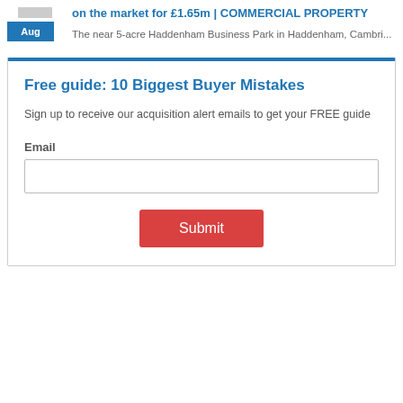on the market for £1.65m | COMMERCIAL PROPERTY
The near 5-acre Haddenham Business Park in Haddenham, Cambri...
Free guide: 10 Biggest Buyer Mistakes
Sign up to receive our acquisition alert emails to get your FREE guide
Email
Submit